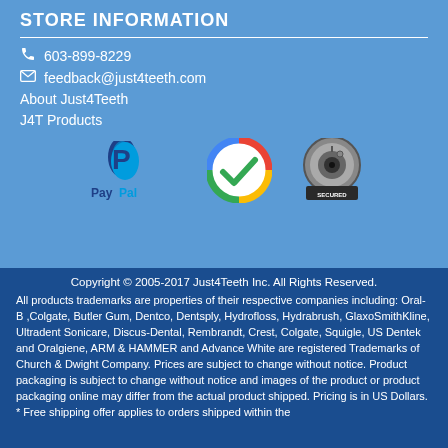STORE INFORMATION
603-899-8229
feedback@just4teeth.com
About Just4Teeth
J4T Products
[Figure (logo): PayPal logo, Google Trusted Store checkmark badge, and a security/SSL lock badge]
Copyright © 2005-2017 Just4Teeth Inc. All Rights Reserved.
All products trademarks are properties of their respective companies including: Oral-B ,Colgate, Butler Gum, Dentco, Dentsply, Hydrofloss, Hydrabrush, GlaxoSmithKline, Ultradent Sonicare, Discus-Dental, Rembrandt, Crest, Colgate, Squigle, US Dentek and Oralgiene, ARM & HAMMER and Advance White are registered Trademarks of Church & Dwight Company. Prices are subject to change without notice. Product packaging is subject to change without notice and images of the product or product packaging online may differ from the actual product shipped. Pricing is in US Dollars. * Free shipping offer applies to orders shipped within the